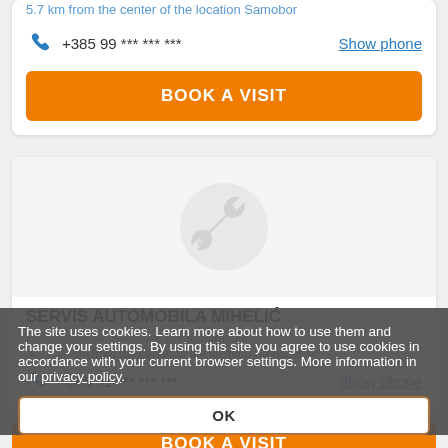5.7 km from the center of the location Samobor
+385 99 *** *** ***
Show phone
BOOK A VISIT
[Figure (illustration): Placeholder image with wrench and tool icon on gray background]
SERVIS AUTOMOBILA MIHELIĆ
BOBOVICA 34, Samobor 10430 Samobor
3. ... ... km from the center of the location Samobor
+385 91 *** *** ***
Show phone
The site uses cookies. Learn more about how to use them and change your settings. By using this site you agree to use cookies in accordance with your current browser settings. More information in our privacy policy.
OK
BOOK A VISIT